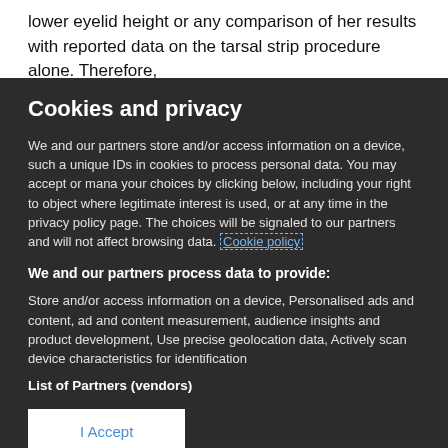lower eyelid height or any comparison of her results with reported data on the tarsal strip procedure alone. Therefore,
Cookies and privacy
We and our partners store and/or access information on a device, such as unique IDs in cookies to process personal data. You may accept or manage your choices by clicking below, including your right to object where legitimate interest is used, or at any time in the privacy policy page. These choices will be signaled to our partners and will not affect browsing data. Cookie policy
We and our partners process data to provide:
Store and/or access information on a device, Personalised ads and content, ad and content measurement, audience insights and product development, Use precise geolocation data, Actively scan device characteristics for identification
List of Partners (vendors)